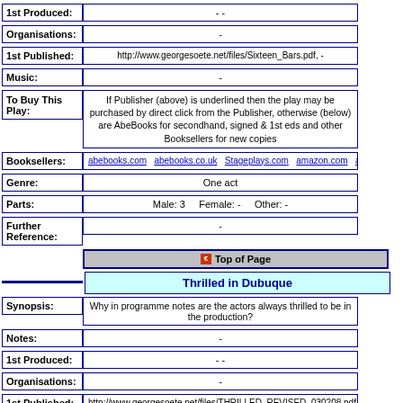| Field | Value |
| --- | --- |
| 1st Produced: | -   - |
| Organisations: | - |
| 1st Published: | http://www.georgesoete.net/files/Sixteen_Bars.pdf,  - |
| Music: | - |
| To Buy This Play: | If Publisher (above) is underlined then the play may be purchased by direct click from the Publisher, otherwise (below) are AbeBooks for secondhand, signed & 1st eds and other Booksellers for new copies |
| Booksellers: | abebooks.com  abebooks.co.uk  Stageplays.com  amazon.com  amazon.co.uk  a... |
| Genre: | One act |
| Parts: | Male:  3      Female:  -       Other:  - |
| Further Reference: | - |
Top of Page
Thrilled in Dubuque
| Field | Value |
| --- | --- |
| Synopsis: | Why in programme notes are the actors always thrilled to be in the production? |
| Notes: | - |
| 1st Produced: | -   - |
| Organisations: | - |
| 1st Published: | http://www.georgesoete.net/files/THRILLED_REVISED_030208.pdf, |